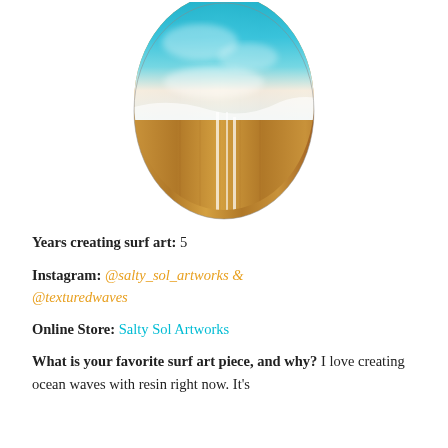[Figure (photo): A wooden surfboard-shaped piece with turquoise and white ocean wave resin art on the top half, transitioning to natural wood grain on the bottom half, with thin white pinstripes. The piece rests on a wooden surface background.]
Years creating surf art: 5
Instagram: @salty_sol_artworks & @texturedwaves
Online Store: Salty Sol Artworks
What is your favorite surf art piece, and why? I love creating ocean waves with resin right now. It's